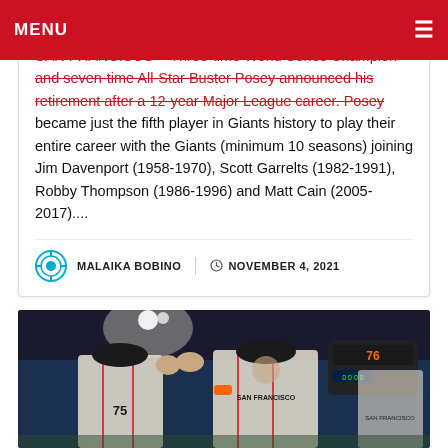MENU ☰
SAN FRANCISCO – Three-time World Series Champion and seven-time All-Star Buster Posey announced his retirement after a 12-year Major League career. Posey became just the fifth player in Giants history to play their entire career with the Giants (minimum 10 seasons) joining Jim Davenport (1958-1970), Scott Garrelts (1982-1991), Robby Thompson (1986-1996) and Matt Cain (2005-2017)....
MALAIKA BOBINO   NOVEMBER 4, 2021
[Figure (photo): Two San Francisco Giants players in white SF Giants uniforms giving a high five on a baseball field at night, one wearing #75, stadium lights and crowd visible in background]